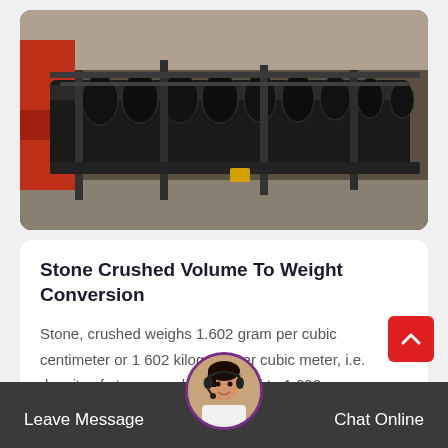[Figure (photo): Industrial photograph of large black metal machinery, possibly a conveyor or crusher system, with heavy steel frames and cylindrical components in an industrial facility. Red machinery visible on the left side.]
Stone Crushed Volume To Weight Conversion
Stone, crushed weighs 1.602 gram per cubic centimeter or 1 602 kilogram per cubic meter, i.e. density of stone, crushed is equal to 1 602…
Leave Message
Chat Online